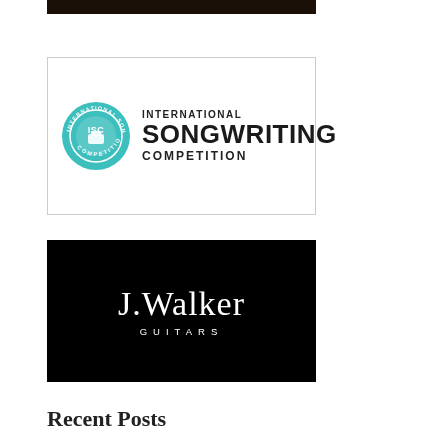[Figure (photo): Dark photo strip at top, appears to be a musical instrument or guitar in low light]
[Figure (logo): International Songwriting Competition logo with teal badge seal on left and bold text 'INTERNATIONAL SONGWRITING COMPETITION' on right, inside a bordered white box]
[Figure (logo): J.Walker Guitars logo — white serif text 'J.Walker' and spaced caps 'GUITARS' on black background]
Recent Posts